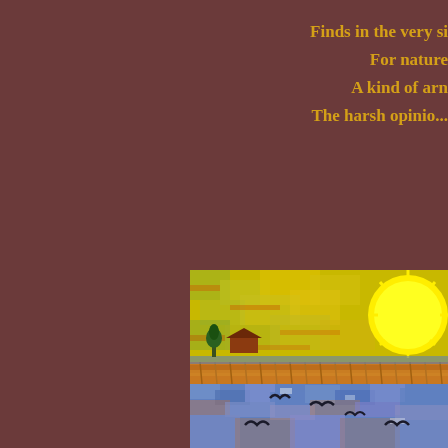Finds in the very si
For nature
A kind of arn
The harsh opinio...
[Figure (illustration): A Van Gogh-style impressionist painting showing a rural landscape at sunset. A bright yellow sun with radiating rays dominates the upper right. The middle ground shows a wheat field in orange-brown tones with a small farmhouse and trees on the left. The foreground is dominated by a blue water or field surface with impressionist brushwork and several dark birds (crows) flying across the scene.]